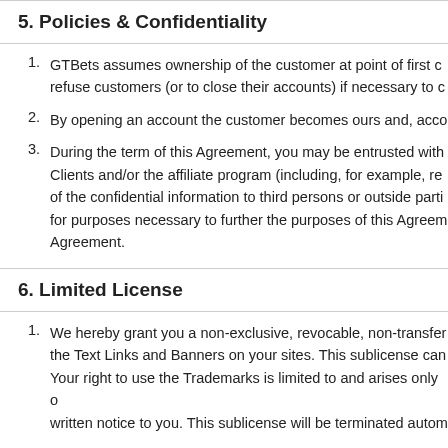5. Policies & Confidentiality
GTBets assumes ownership of the customer at point of first c... refuse customers (or to close their accounts) if necessary to c...
By opening an account the customer becomes ours and, acco...
During the term of this Agreement, you may be entrusted with... Clients and/or the affiliate program (including, for example, re... of the confidential information to third persons or outside parti... for purposes necessary to further the purposes of this Agreem... Agreement.
6. Limited License
We hereby grant you a non-exclusive, revocable, non-transfer... the Text Links and Banners on your sites. This sublicense can... Your right to use the Trademarks is limited to and arises only ... written notice to you. This sublicense will be terminated autom...